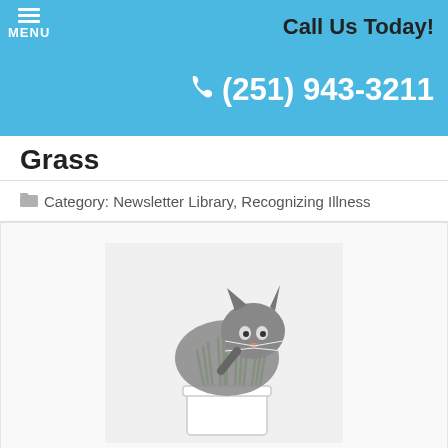Call Us Today!  (251) 943-3211
Grass
Category: Newsletter Library, Recognizing Illness
[Figure (photo): A gray fluffy cat eating green grass from a white pot]
Wondering what to do if your pet eats grass? Take a look at a few ideas.
READ MORE